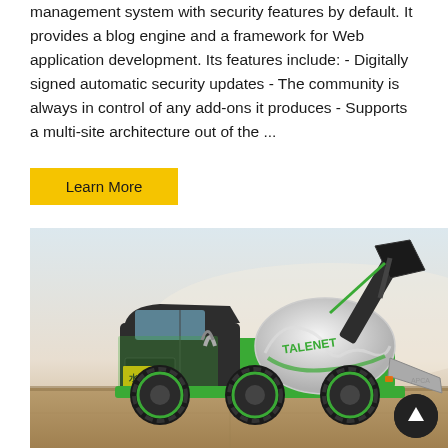management system with security features by default. It provides a blog engine and a framework for Web application development. Its features include: - Digitally signed automatic security updates - The community is always in control of any add-ons it produces - Supports a multi-site architecture out of the ...
Learn More
[Figure (photo): Green TALENET self-loading concrete mixer truck on a construction site background. The machine is green with black accents, has four large black wheels, a white mixing drum with the TALENET logo, and a loading bucket raised at the top right.]